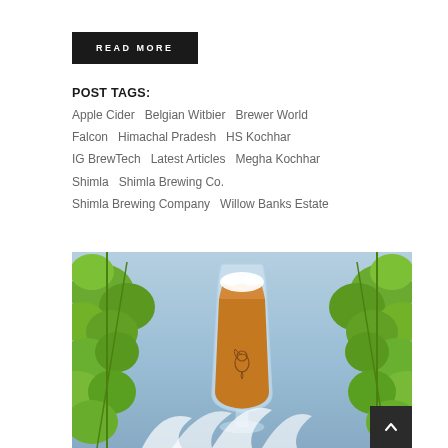READ MORE
POST TAGS:
Apple Cider  Belgian Witbier  Brewer World  Falcon  Himachal Pradesh  HS Kochhar  IG BrewTech  Latest Articles  Megha Kochhar  Shimla  Shimla Brewing Co.  Shimla Brewing Company  Willow Banks Estate
[Figure (photo): A tulip beer glass with amber beer and a squirrel logo/etching on the glass, surrounded by green hops on a light blue background. Green hop plants frame the left and right sides of the image, with decorative white feather/leaf elements at the bottom.]